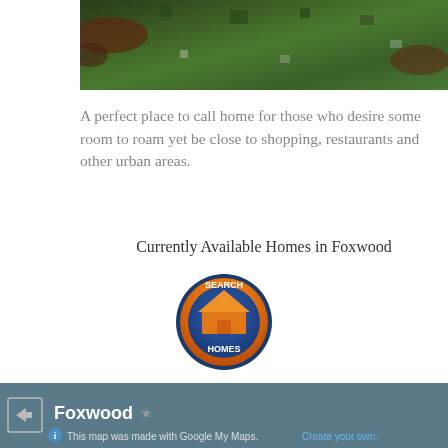[Figure (photo): Aerial satellite photo of a neighborhood near water/river with trees and buildings]
A perfect place to call home for those who desire some room to roam yet be close to shopping, restaurants and other urban areas.
Currently Available Homes in Foxwood
[Figure (illustration): Orange circular search homes button with house icon and SEARCH HOMES text]
[Figure (map): Google My Maps embed showing Foxwood area with Trailwinds Farm and Jet Plumbing Contractors Inc markers visible]